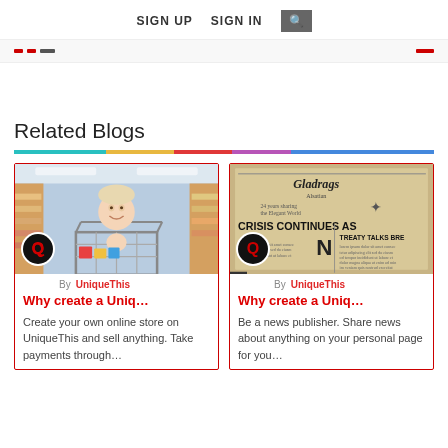SIGN UP  SIGN IN  🔍
Related Blogs
[Figure (photo): Photo of a smiling child riding in a shopping cart in a retail store aisle with colorful products on shelves.]
By UniqueThis
Why create a Uniq…
Create your own online store on UniqueThis and sell anything. Take payments through…
[Figure (photo): Close-up photo of a vintage newspaper with headlines including 'CRISIS CONTINUES AS' and 'Gladrags'.]
By UniqueThis
Why create a Uniq…
Be a news publisher. Share news about anything on your personal page for you…